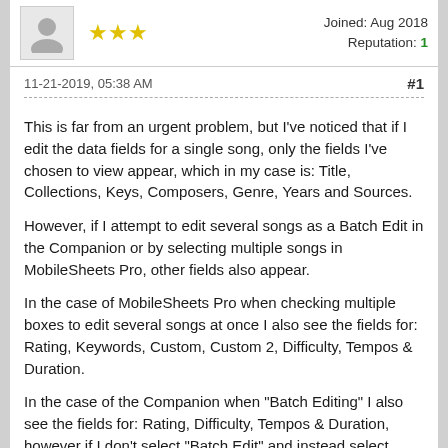Joined: Aug 2018
Reputation: 1
11-21-2019, 05:38 AM
#1
This is far from an urgent problem, but I've noticed that if I edit the data fields for a single song, only the fields I've chosen to view appear, which in my case is: Title, Collections, Keys, Composers, Genre, Years and Sources.
However, if I attempt to edit several songs as a Batch Edit in the Companion or by selecting multiple songs in MobileSheets Pro, other fields also appear.
In the case of MobileSheets Pro when checking multiple boxes to edit several songs at once I also see the fields for: Rating, Keywords, Custom, Custom 2, Difficulty, Tempos & Duration.
In the case of the Companion when "Batch Editing" I also see the fields for: Rating, Difficulty, Tempos & Duration, however if I don't select "Batch Edit" and instead select "Edit" I don't see the extra fields but of